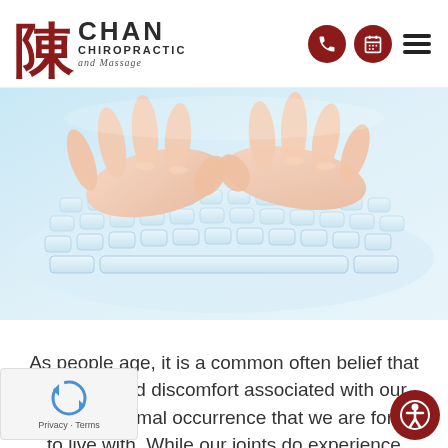Chan Chiropractic and Massage
[Figure (photo): Hands typing on a white computer keyboard, light blue tones, top-down angle view]
As people age, it is a common often belief that the pain and discomfort associated with our joints is a normal occurrence that we are forced to live with. While our joints do experience levels of degradation as we age